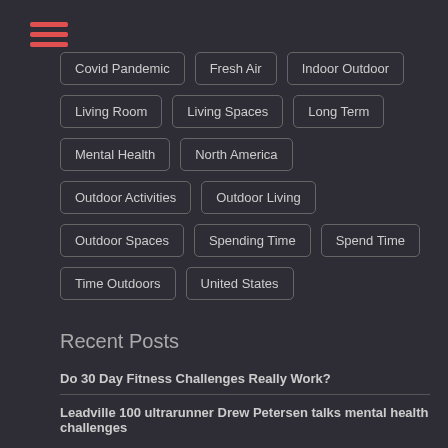[Figure (other): Hamburger menu icon with three red horizontal lines]
Covid Pandemic
Fresh Air
Indoor Outdoor
Living Room
Living Spaces
Long Term
Mental Health
North America
Outdoor Activities
Outdoor Living
Outdoor Spaces
Spending Time
Spend Time
Time Outdoors
United States
Recent Posts
Do 30 Day Fitness Challenges Really Work?
Leadville 100 ultrarunner Drew Petersen talks mental health challenges